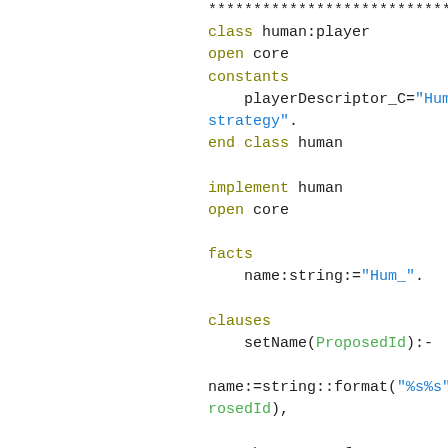******************************************/
class human:player
open core
constants
    playerDescriptor_C="Human: Your strategy".
end class human

implement human
open core

facts
    name:string:="Hum_".

clauses
    setName(ProposedId):-

name:=string::format("%s%s",name,ProposedId),

Name=humanInterface::getInput(humanInterface::playerName_S,name),
        if not(Name="") then